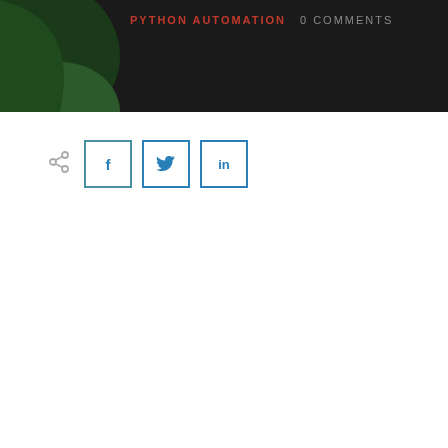PYTHON AUTOMATION   0 COMMENTS
[Figure (other): Social share buttons: share icon, Facebook (f), Twitter (bird), LinkedIn (in)]
Table of Contents
When to use implicit wait and explicit wait in Tests
Functional Automation Example 1
Code Implementation:
Functional Automation Example 2